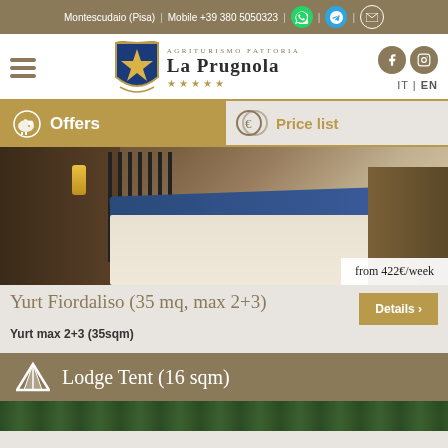Montescudaio (Pisa)  |  Mobile +39 380 5050323
[Figure (logo): Agriturismo Fattoria La Prugnola logo with crest emblem and 5 gold stars]
IT | EN
Offers
Price list
[Figure (photo): Bedroom interior with iron bed frame, blue bedspread, white linens, and wooden furniture]
from 422€/week
Yurt Fiordaliso (35 mq, max 2+3)
Yurt max 2+3 (35sqm)
Lodge Tent (16 sqm)
[Figure (photo): Lodge tent exterior view with trees and foliage visible]